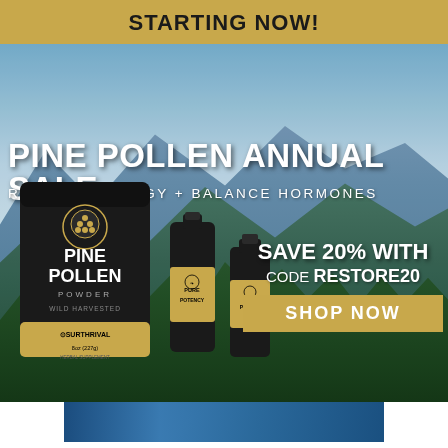STARTING NOW!
[Figure (photo): Advertisement for Pine Pollen Annual Sale by Surthrival, featuring a mountain landscape background with pine trees, a large black bag of Pine Pollen Powder (Wild Harvested, 8oz/227g Herbal Supplement) by Surthrival, two tincture bottles (Pure Potency and Pine Pollen), headline text 'PINE POLLEN ANNUAL SALE / RESTORE ENERGY + BALANCE HORMONES', and a promotional box showing 'SAVE 20% WITH CODE RESTORE20' with a gold 'SHOP NOW' button.]
PINE POLLEN ANNUAL SALE
RESTORE ENERGY + BALANCE HORMONES
SAVE 20% WITH CODE RESTORE20
SHOP NOW
[Figure (photo): Partial bottom strip showing a blue-toned image, likely another product or nature scene, cropped at the bottom of the page.]